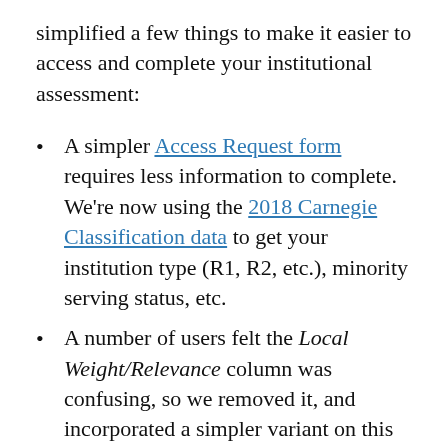simplified a few things to make it easier to access and complete your institutional assessment:
A simpler Access Request form requires less information to complete. We're now using the 2018 Carnegie Classification data to get your institution type (R1, R2, etc.), minority serving status, etc.
A number of users felt the Local Weight/Relevance column was confusing, so we removed it, and incorporated a simpler variant on this elsewhere.
Many users felt that the Multi-Institutional Collaboration answers weighed too heavily in the computed